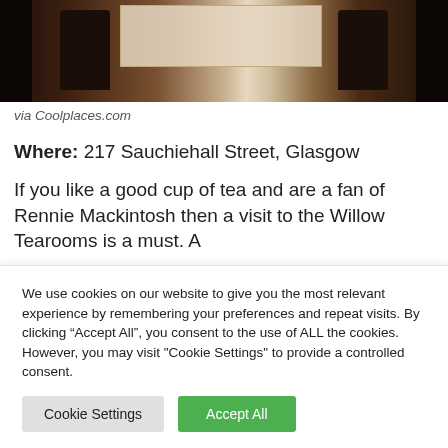[Figure (photo): Interior of a tearoom showing dark wooden chairs and tables with a white tablecloth, dimly lit restaurant setting]
via Coolplaces.com
Where: 217 Sauchiehall Street, Glasgow
If you like a good cup of tea and are a fan of Rennie Mackintosh then a visit to the Willow Tearooms is a must. A
We use cookies on our website to give you the most relevant experience by remembering your preferences and repeat visits. By clicking “Accept All”, you consent to the use of ALL the cookies. However, you may visit "Cookie Settings" to provide a controlled consent.